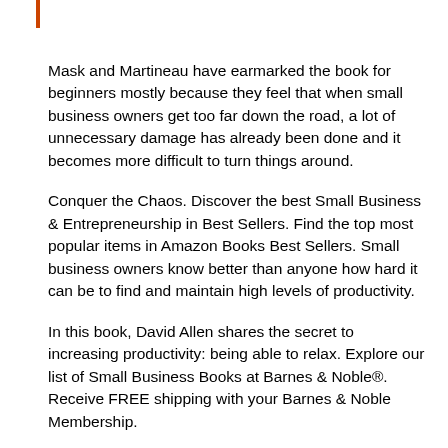Mask and Martineau have earmarked the book for beginners mostly because they feel that when small business owners get too far down the road, a lot of unnecessary damage has already been done and it becomes more difficult to turn things around.
Conquer the Chaos. Discover the best Small Business & Entrepreneurship in Best Sellers. Find the top most popular items in Amazon Books Best Sellers. Small business owners know better than anyone how hard it can be to find and maintain high levels of productivity.
In this book, David Allen shares the secret to increasing productivity: being able to relax. Explore our list of Small Business Books at Barnes & Noble®. Receive FREE shipping with your Barnes & Noble Membership.
Due to COVID, orders may be delayed. Thank you for your patience. Book. Explore our list of Small Business Management Books at Barnes & Noble®. Receive FREE shipping with your Barnes & Noble